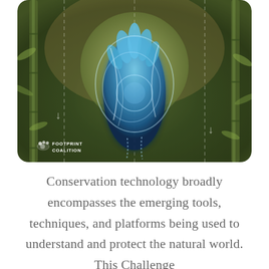[Figure (illustration): Artistic illustration of a blue robotic/mechanical hand reaching upward, surrounded by white light swirls and glowing elements, set against a dark olive-green background with bamboo stalks on either side, a circular halo/orb behind the hand, and dashed decorative lines. The Footprint Coalition logo appears in the lower-left corner.]
Conservation technology broadly encompasses the emerging tools, techniques, and platforms being used to understand and protect the natural world. This Challenge